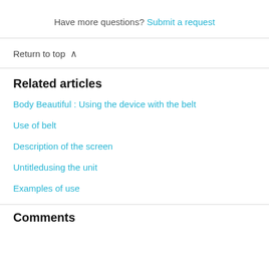Have more questions? Submit a request
Return to top ∧
Related articles
Body Beautiful : Using the device with the belt
Use of belt
Description of the screen
Untitledusing the unit
Examples of use
Comments